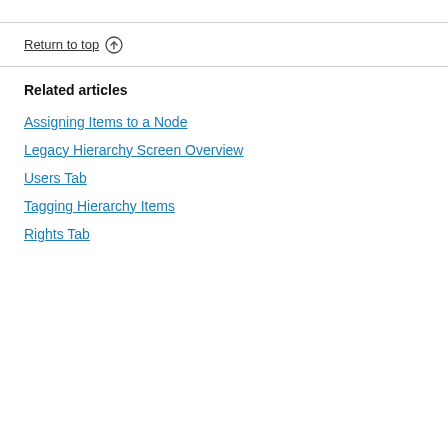Return to top ↑
Related articles
Assigning Items to a Node
Legacy Hierarchy Screen Overview
Users Tab
Tagging Hierarchy Items
Rights Tab
The Hierarchy